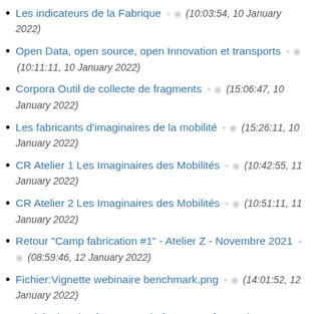Les indicateurs de la Fabrique + 👁 (10:03:54, 10 January 2022)
Open Data, open source, open Innovation et transports + 👁 (10:11:11, 10 January 2022)
Corpora Outil de collecte de fragments + 👁 (15:06:47, 10 January 2022)
Les fabricants d'imaginaires de la mobilité + 👁 (15:26:11, 10 January 2022)
CR Atelier 1 Les Imaginaires des Mobilités + 👁 (10:42:55, 11 January 2022)
CR Atelier 2 Les Imaginaires des Mobilités + 👁 (10:51:11, 11 January 2022)
Retour "Camp fabrication #1" - Atelier Z - Novembre 2021 + 👁 (08:59:46, 12 January 2022)
Fichier:Vignette webinaire benchmark.png + 👁 (14:01:52, 12 January 2022)
Exploitation des fragments de futur sous forme de cartes mentales (Imaginaires des